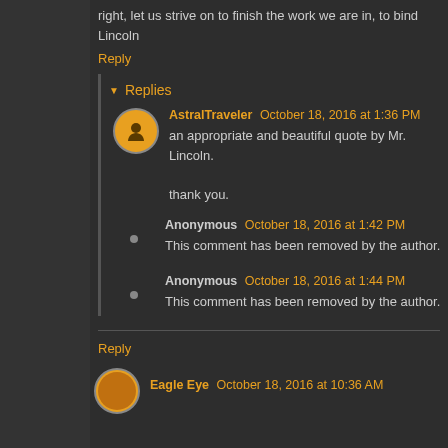right, let us strive on to finish the work we are in, to bind
Lincoln
Reply
Replies
AstralTraveler October 18, 2016 at 1:36 PM
an appropriate and beautiful quote by Mr. Lincoln.

thank you.
Anonymous October 18, 2016 at 1:42 PM
This comment has been removed by the author.
Anonymous October 18, 2016 at 1:44 PM
This comment has been removed by the author.
Reply
Eagle Eye October 18, 2016 at 10:36 AM